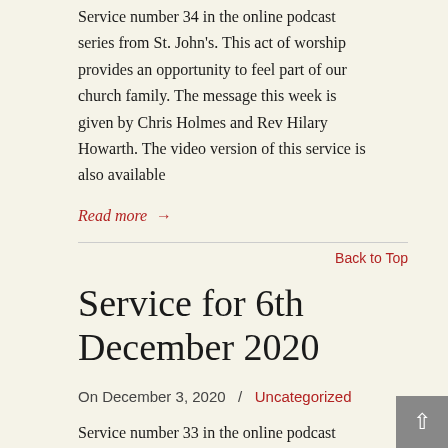Service number 34 in the online podcast series from St. John's. This act of worship provides an opportunity to feel part of our church family. The message this week is given by Chris Holmes and Rev Hilary Howarth. The video version of this service is also available
Read more →
Back to Top
Service for 6th December 2020
On December 3, 2020  /  Uncategorized
Service number 33 in the online podcast